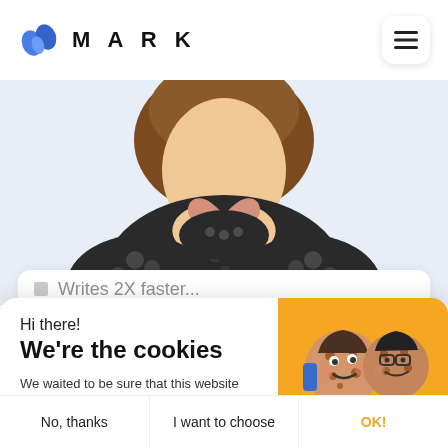[Figure (screenshot): MARK logo and navigation bar with hamburger menu button on the right]
[Figure (illustration): Cropped illustration of an animated character in a dark dotted jacket making a heart shape with their hands, on a light blue background]
[Figure (screenshot): Partial white card with checkbox icon and partial text 'Writes 2X faster']
[Figure (illustration): Cookie consent popup overlay with illustrated cookie characters on a yellow background in the top-right corner]
Hi there!
We're the cookies
We waited to be sure that this website interests you before knocking, but we have to know if we can be your companions during your visit.
Consents certified by axeptio
No, thanks
I want to choose
OK!